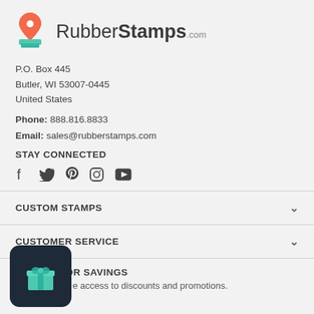[Figure (logo): RubberStamps.com logo with map pin icon]
P.O. Box 445
Butler, WI 53007-0445
United States
Phone: 888.816.8833
Email: sales@rubberstamps.com
STAY CONNECTED
[Figure (infographic): Social media icons: Facebook, Twitter, Pinterest, Instagram, YouTube]
CUSTOM STAMPS
CUSTOMER SERVICE
SIGN UP FOR SAVINGS
Get exclusive access to discounts and promotions.
[Figure (illustration): Dark gift box widget icon overlay in bottom left corner]